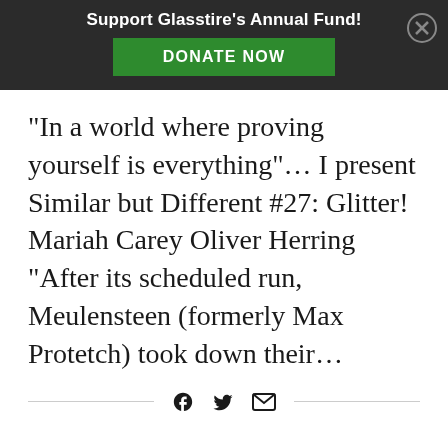Support Glasstire's Annual Fund! DONATE NOW
“In a world where proving yourself is everything”… I present Similar but Different #27: Glitter! Mariah Carey Oliver Herring “After its scheduled run, Meulensteen (formerly Max Protetch) took down their…